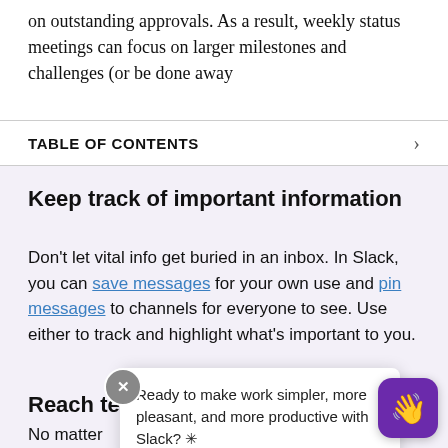on outstanding approvals. As a result, weekly status meetings can focus on larger milestones and challenges (or be done away
TABLE OF CONTENTS
Keep track of important information
Don't let vital info get buried in an inbox. In Slack, you can save messages for your own use and pin messages to channels for everyone to see. Use either to track and highlight what's important to you.
Reach tea
No matter
experienced the universal problem
Ready to make work simpler, more pleasant, and more productive with Slack? ✳︎